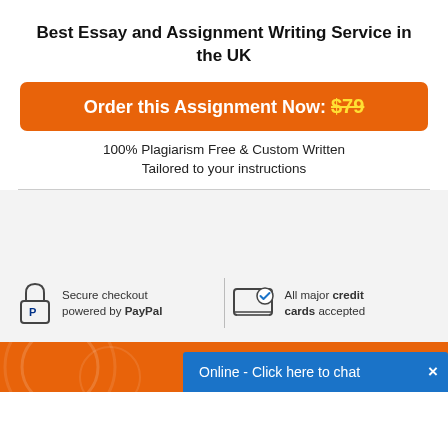Best Essay and Assignment Writing Service in the UK
Order this Assignment Now: $79
100% Plagiarism Free & Custom Written Tailored to your instructions
[Figure (infographic): Payment trust section with PayPal secure checkout icon and credit card accepted icon on gray background]
Online - Click here to chat